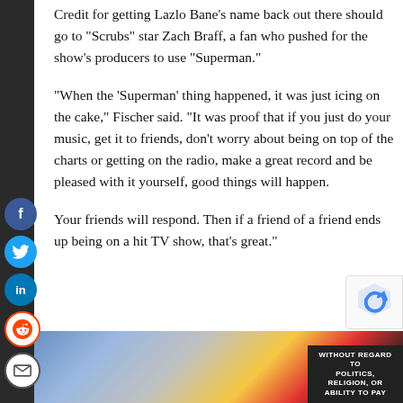Credit for getting Lazlo Bane’s name back out there should go to “Scrubs” star Zach Braff, a fan who pushed for the show’s producers to use “Superman.”
“When the ‘Superman’ thing happened, it was just icing on the cake,” Fischer said. “It was proof that if you just do your music, get it to friends, don’t worry about being on top of the charts or getting on the radio, make a great record and be pleased with it yourself, good things will happen.
Your friends will respond. Then if a friend of a friend ends up being on a hit TV show, that’s great.”
[Figure (photo): Advertisement banner at the bottom showing an airplane being loaded with cargo, with a yellow and red tail visible. Overlay text reads WITHOUT REGARD TO POLITICS, RELIGION, OR ABILITY TO PAY.]